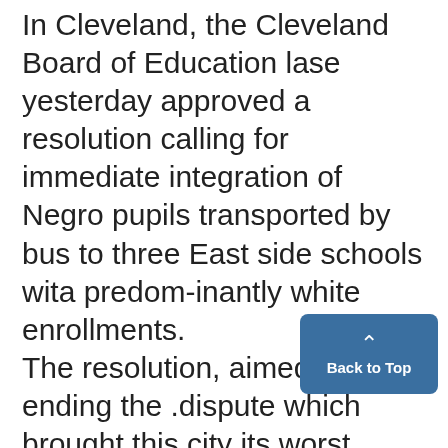In Cleveland, the Cleveland Board of Education lase yesterday approved a resolution calling for immediate integration of Negro pupils transported by bus to three East side schools wita predom-inantly white enrollments. The resolution, aimed at ending the .dispute which brought this city its worst racial flareup in recent years, was worked out last week at a meeting of representatives of all sides in the dispute called by Mayor Ralph S. Locher